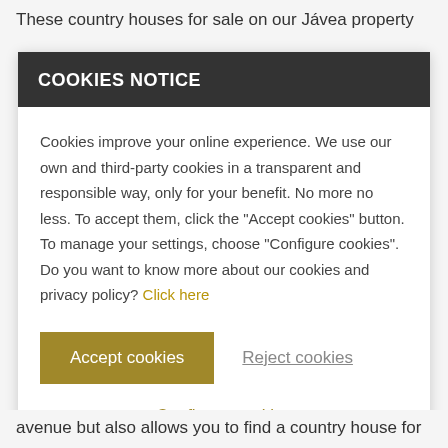These country houses for sale on our Jávea property
COOKIES NOTICE
Cookies improve your online experience. We use our own and third-party cookies in a transparent and responsible way, only for your benefit. No more no less. To accept them, click the "Accept cookies" button. To manage your settings, choose "Configure cookies". Do you want to know more about our cookies and privacy policy? Click here
Accept cookies
Reject cookies
Configure cookies
avenue but also allows you to find a country house for